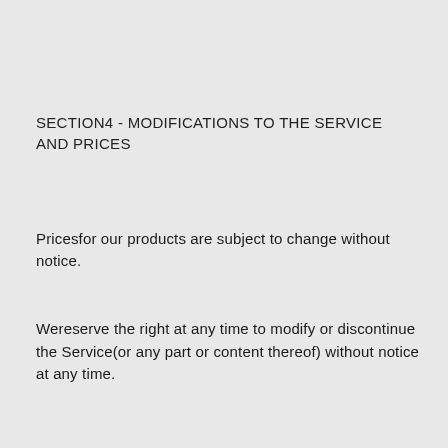SECTION4 - MODIFICATIONS TO THE SERVICE AND PRICES
Pricesfor our products are subject to change without notice.
Wereserve the right at any time to modify or discontinue the Service(or any part or content thereof) without notice at any time.